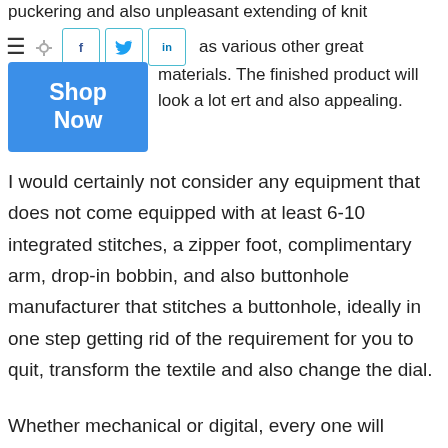puckering and also unpleasant extending of knit
as various other great materials. The finished product will look a lot ert and also appealing.
[Figure (other): Shop Now button (blue CTA button) and social sharing icons (Facebook, Twitter, LinkedIn) with hamburger menu icon]
I would certainly not consider any equipment that does not come equipped with at least 6-10 integrated stitches, a zipper foot, complimentary arm, drop-in bobbin, and also buttonhole manufacturer that stitches a buttonhole, ideally in one step getting rid of the requirement for you to quit, transform the textile and also change the dial.
Whether mechanical or digital, every one will certainly have basic functions and stitch